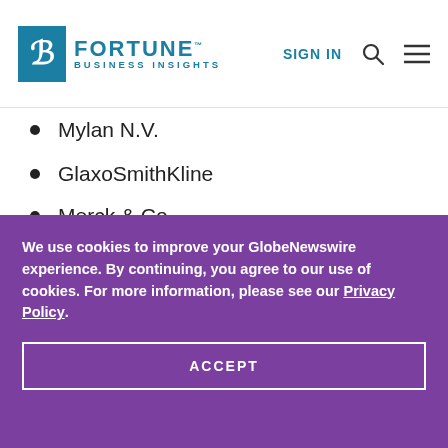Fortune Business Insights — SIGN IN
Mylan N.V.
GlaxoSmithKline
Merck & Co. (partial)
We use cookies to improve your GlobeNewswire experience. By continuing, you agree to our use of cookies. For more information, please see our Privacy Policy.
ACCEPT